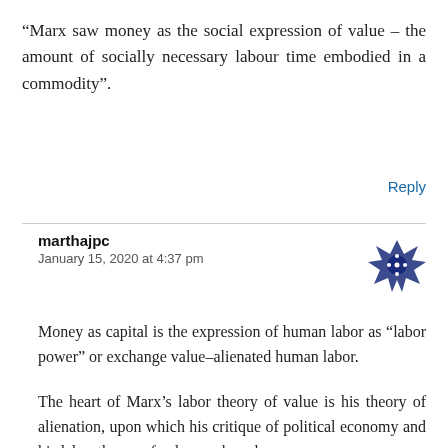“Marx saw money as the social expression of value – the amount of socially necessary labour time embodied in a commodity”.
Reply
marthajpc
January 15, 2020 at 4:37 pm
Money as capital is the expression of human labor as “labor power” or exchange value–alienated human labor.
The heart of Marx’s labor theory of value is his theory of alienation, upon which his critique of political economy and his labor theory of value are based.